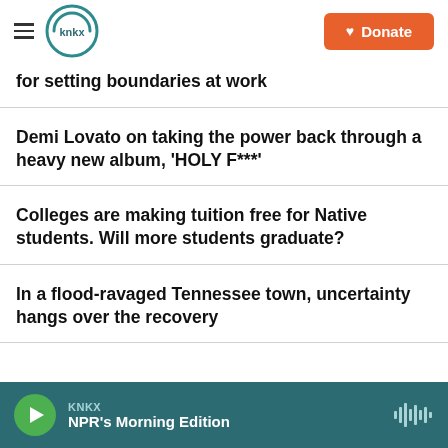KNKX — Donate
for setting boundaries at work
Demi Lovato on taking the power back through a heavy new album, 'HOLY F***'
Colleges are making tuition free for Native students. Will more students graduate?
In a flood-ravaged Tennessee town, uncertainty hangs over the recovery
KNKX — NPR's Morning Edition